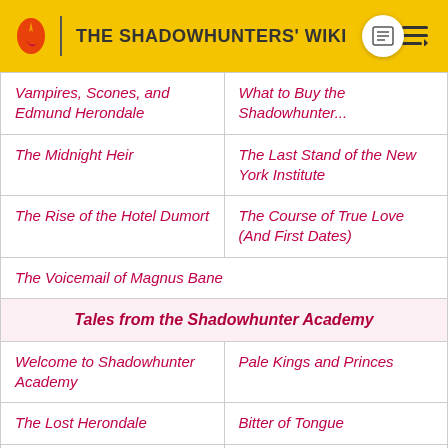THE SHADOWHUNTERS' WIKI
| Vampires, Scones, and Edmund Herondale | What to Buy the Shadowhunter... |
| The Midnight Heir | The Last Stand of the New York Institute |
| The Rise of the Hotel Dumort | The Course of True Love (And First Dates) |
| The Voicemail of Magnus Bane |  |
| Tales from the Shadowhunter Academy |  |
| Welcome to Shadowhunter Academy | Pale Kings and Princes |
| The Lost Herondale | Bitter of Tongue |
| The Whitechapel Fiend | The Fiery Trial |